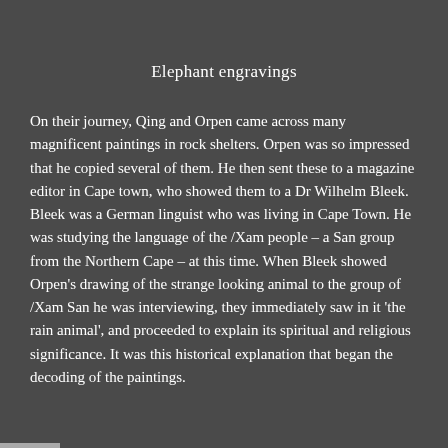Elephant engravings
On their journey, Qing and Orpen came across many magnificent paintings in rock shelters. Orpen was so impressed that he copied several of them. He then sent these to a magazine editor in Cape town, who showed them to a Dr Wilhelm Bleek. Bleek was a German linguist who was living in Cape Town. He was studying the language of the /Xam people – a San group from the Northern Cape – at this time. When Bleek showed Orpen's drawing of the strange looking animal to the group of /Xam San he was interviewing, they immediately saw in it 'the rain animal', and proceeded to explain its spiritual and religious significance. It was this historical explanation that began the decoding of the paintings.